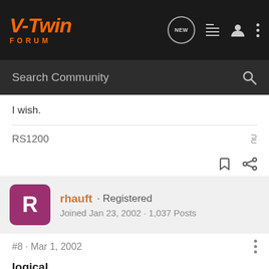V-Twin Forum
I wish.
RS1200
rhauft · Registered
Joined Jan 23, 2002 · 1,037 Posts
#8 · Mar 1, 2002
logical